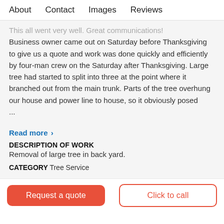About   Contact   Images   Reviews
This all went very well. Great communications! Business owner came out on Saturday before Thanksgiving to give us a quote and work was done quickly and efficiently by four-man crew on the Saturday after Thanksgiving. Large tree had started to split into three at the point where it branched out from the main trunk. Parts of the tree overhung our house and power line to house, so it obviously posed ...
Read more >
DESCRIPTION OF WORK
Removal of large tree in back yard.
CATEGORY Tree Service
Request a quote
Click to call